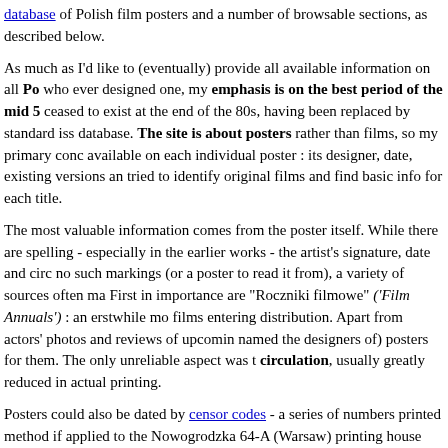database of Polish film posters and a number of browsable sections, as described below.
As much as I'd like to (eventually) provide all available information on all Po who ever designed one, my emphasis is on the best period of the mid 5 ceased to exist at the end of the 80s, having been replaced by standard iss database. The site is about posters rather than films, so my primary conc available on each individual poster : its designer, date, existing versions an tried to identify original films and find basic info for each title.
The most valuable information comes from the poster itself. While there are spelling - especially in the earlier works - the artist's signature, date and circ no such markings (or a poster to read it from), a variety of sources often ma First in importance are "Roczniki filmowe" ('Film Annuals') : an erstwhile mo films entering distribution. Apart from actors' photos and reviews of upcomin named the designers of) posters for them. The only unreliable aspect was t circulation, usually greatly reduced in actual printing.
Posters could also be dated by censor codes - a series of numbers printed method if applied to the Nowogrodzka 64-A (Warsaw) printing house output Kielce). Then there are various albums and show fliers, official artist biograp remain unidentified (listed in database as "Unk"(-nown), and 45 others (pre- such basic data as the country of film production (7), year (2) and original fi
Site map :
- database : search fields are : artist's name, poster (=Polish film) title, orig same as Polish film release date), original film release date, director, cas